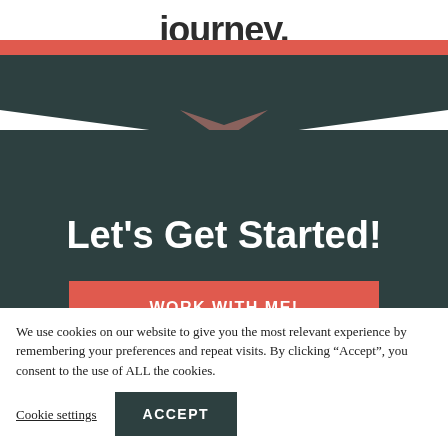journey.
[Figure (illustration): Decorative V-shaped chevron graphic with salmon/coral and dark green layered bands pointing downward, separating the white top area from the dark green section]
Let's Get Started!
WORK WITH ME!
We use cookies on our website to give you the most relevant experience by remembering your preferences and repeat visits. By clicking “Accept”, you consent to the use of ALL the cookies.
Cookie settings
ACCEPT